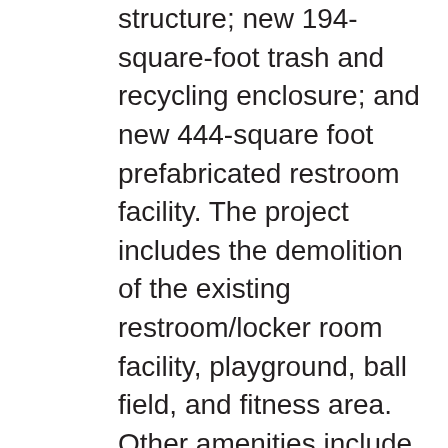structure; new 194-square-foot trash and recycling enclosure; and new 444-square foot prefabricated restroom facility. The project includes the demolition of the existing restroom/locker room facility, playground, ball field, and fitness area. Other amenities include pedestrian pathways, accessible pathways and entrances, a bus loading zone, gates, field and perimeter fencing, sport field lighting, pedestrian lighting, and street lights. The parking areas